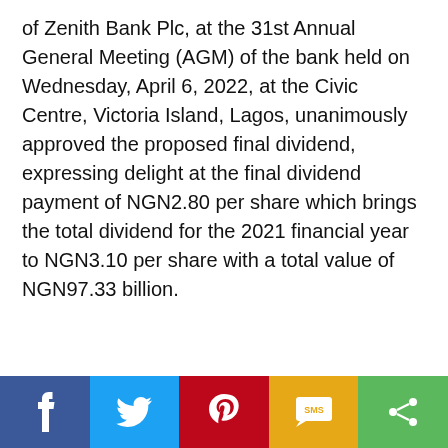of Zenith Bank Plc, at the 31st Annual General Meeting (AGM) of the bank held on Wednesday, April 6, 2022, at the Civic Centre, Victoria Island, Lagos, unanimously approved the proposed final dividend, expressing delight at the final dividend payment of NGN2.80 per share which brings the total dividend for the 2021 financial year to NGN3.10 per share with a total value of NGN97.33 billion.
[Figure (infographic): Social media share bar with icons for Facebook (blue), Twitter (light blue), Pinterest (red), SMS (yellow/amber), and Share (green)]